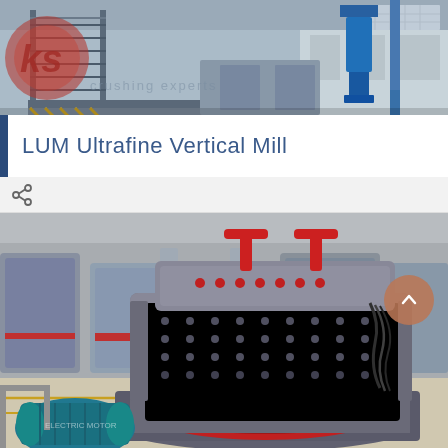[Figure (photo): Industrial facility interior showing machinery, stairs, metallic equipment, and a blue cylindrical machine/vertical mill in the upper right. Red and grey branded logo visible in upper left corner with text 'oks'.]
LUM Ultrafine Vertical Mill
[Figure (photo): Close-up product photo of a grey and red industrial hammer mill or crushing machine with red handles on top, red wiring/cable harness, set against a blurred factory floor background with other large grey industrial machines. A teal/blue electric motor is visible in the foreground lower left. An orange circular scroll-to-top button with an up arrow is overlaid in the right side of the image.]